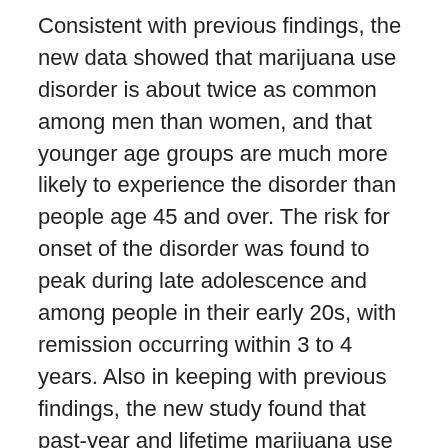Consistent with previous findings, the new data showed that marijuana use disorder is about twice as common among men than women, and that younger age groups are much more likely to experience the disorder than people age 45 and over. The risk for onset of the disorder was found to peak during late adolescence and among people in their early 20s, with remission occurring within 3 to 4 years. Also in keeping with previous findings, the new study found that past-year and lifetime marijuana use disorders were strongly and consistently associated with other substance use and mental health disorders.
Dr. Grant and her colleagues also reported that people with marijuana use disorder, particularly those with severe forms of the disorder, experience considerable mental disability. They note that previous studies have found that such disabilities persist even after remission of marijuana use disorder. The researchers also report that only about 7